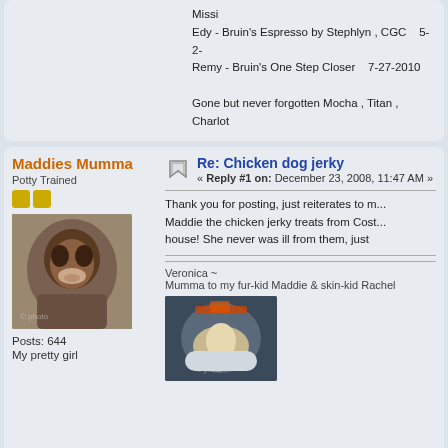Missi
Edy - Bruin's Espresso by Stephlyn , CGC   5-2-
Remy - Bruin's One Step Closer   7-27-2010

Gone but never forgotten Mocha , Titan , Charlot
Maddies Mumma
Potty Trained
[Figure (photo): Profile photo of a boxer dog, brown and white, close-up face]
Posts: 644
My pretty girl
Re: Chicken dog jerky
« Reply #1 on: December 23, 2008, 11:47 AM »
Thank you for posting, just reiterates to m... Maddie the chicken jerky treats from Cost... house!  She never was ill from them, just
Veronica ~
Mumma to my fur-kid Maddie & skin-kid Rachel
[Figure (photo): Photo of a baby in a round white bassinet/bouncer seat]
Pages: [1]   Go Up